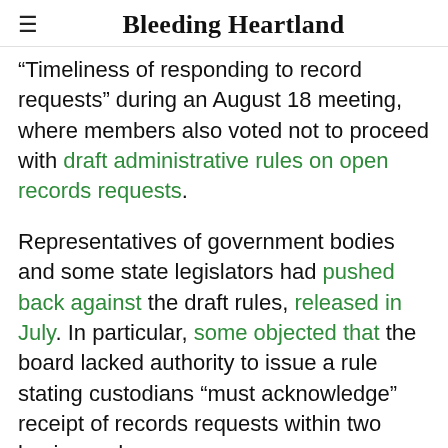Bleeding Heartland
“Timeliness of responding to record requests” during an August 18 meeting, where members also voted not to proceed with draft administrative rules on open records requests.
Representatives of government bodies and some state legislators had pushed back against the draft rules, released in July. In particular, some objected that the board lacked authority to issue a rule stating custodians “must acknowledge” receipt of records requests within two business days